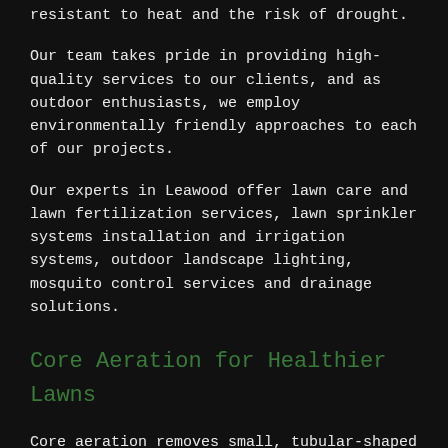resistant to heat and the risk of drought.
Our team takes pride in providing high-quality services to our clients, and as outdoor enthusiasts, we employ environmentally friendly approaches to each of our projects.
Our experts in Leawood offer lawn care and lawn fertilization services, lawn sprinkler systems installation and irrigation systems, outdoor landscape lighting, mosquito control services and drainage solutions.
Core Aeration for Healthier Lawns
Core aeration removes small, tubular-shaped pieces of soil from your lawn, giving air, moisture and fertilizer free access to your root system. Core aeration pulls plugs of soil from the ground, leaving them on the lawn surface where they'll